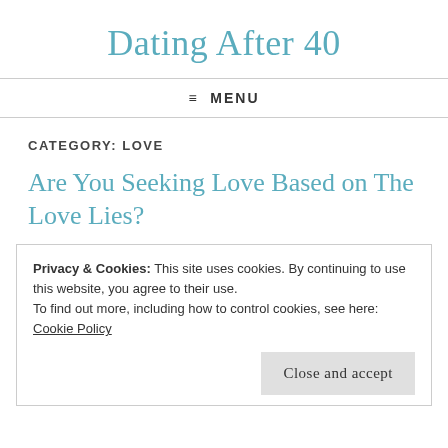Dating After 40
≡ MENU
CATEGORY: LOVE
Are You Seeking Love Based on The Love Lies?
Privacy & Cookies: This site uses cookies. By continuing to use this website, you agree to their use.
To find out more, including how to control cookies, see here:
Cookie Policy
Close and accept